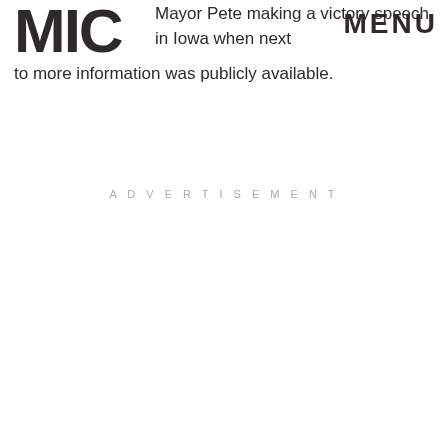[Figure (logo): MIC logo in large bold dark letters]
MENU
Mayor Pete making a victory speech in Iowa when next to more information was publicly available.
ADVERTISEMENT